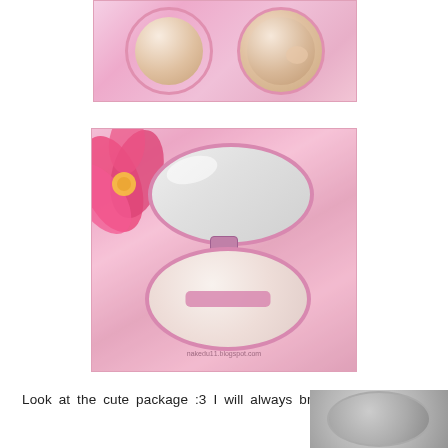[Figure (photo): Top-down photo of an open pink compact powder case showing two round compartments filled with light beige/nude powder, placed on a floral pink background with sheer pink fabric]
[Figure (photo): Photo of an open pink compact powder case showing mirror in top lid and powder puff in bottom compartment, surrounded by pink flowers and sheer pink fabric. Watermark visible at bottom.]
Look at the cute package :3 I will always bring it on my
[Figure (photo): Partially visible photo at bottom right showing what appears to be a closed silver/grey compact]